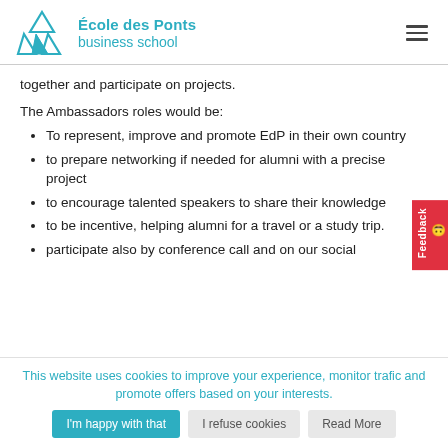École des Ponts business school
together and participate on projects.
The Ambassadors roles would be:
To represent, improve and promote EdP in their own country
to prepare networking if needed for alumni with a precise project
to encourage talented speakers to share their knowledge
to be incentive, helping alumni for a travel or a study trip.
participate also by conference call and on our social
This website uses cookies to improve your experience, monitor trafic and promote offers based on your interests.